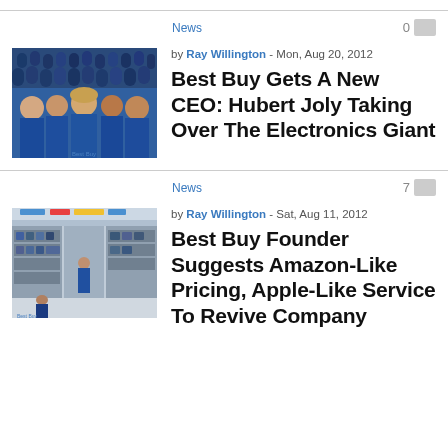News  0
by Ray Willington - Mon, Aug 20, 2012
Best Buy Gets A New CEO: Hubert Joly Taking Over The Electronics Giant
[Figure (photo): Group of Best Buy employees in blue uniforms]
News  7
by Ray Willington - Sat, Aug 11, 2012
Best Buy Founder Suggests Amazon-Like Pricing, Apple-Like Service To Revive Company
[Figure (photo): Best Buy store interior with products and employees]